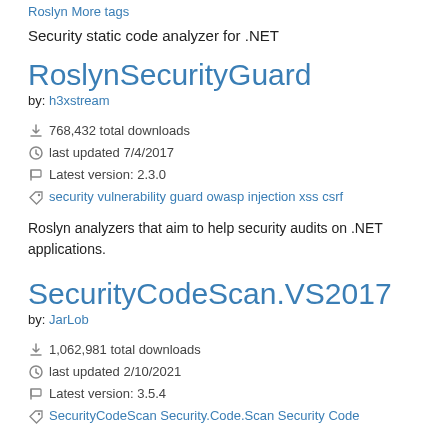Roslyn More tags
Security static code analyzer for .NET
RoslynSecurityGuard
by: h3xstream
768,432 total downloads
last updated 7/4/2017
Latest version: 2.3.0
security vulnerability guard owasp injection xss csrf
Roslyn analyzers that aim to help security audits on .NET applications.
SecurityCodeScan.VS2017
by: JarLob
1,062,981 total downloads
last updated 2/10/2021
Latest version: 3.5.4
SecurityCodeScan Security.Code.Scan Security Code